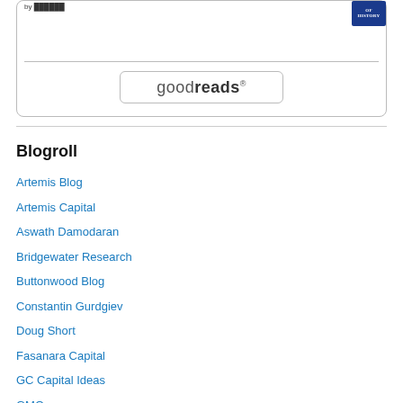[Figure (other): Goodreads widget box with a history book cover image and goodreads button]
Blogroll
Artemis Blog
Artemis Capital
Aswath Damodaran
Bridgewater Research
Buttonwood Blog
Constantin Gurdgiev
Doug Short
Fasanara Capital
GC Capital Ideas
GMO
Hussman